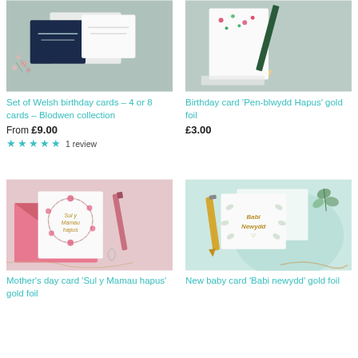[Figure (photo): Photo of Welsh birthday cards set - Blodwen collection, showing multiple cards with floral designs on a sage green background with pink dried flowers]
Set of Welsh birthday cards - 4 or 8 cards - Blodwen collection
From £9.00
★★★★★ 1 review
[Figure (photo): Photo of Birthday card 'Pen-blwydd Hapus' gold foil with floral design, pencil on sage green background]
Birthday card 'Pen-blwydd Hapus' gold foil
£3.00
[Figure (photo): Photo of Mother's day card 'Sul y Mamau hapus' gold foil with pink floral wreath, on pink envelope with pen and paperclip]
Mother's day card 'Sul y Mamau hapus' gold foil
[Figure (photo): Photo of New baby card 'Babi newydd' gold foil with leaf design, gold pen on mint background with eucalyptus]
New baby card 'Babi newydd' gold foil